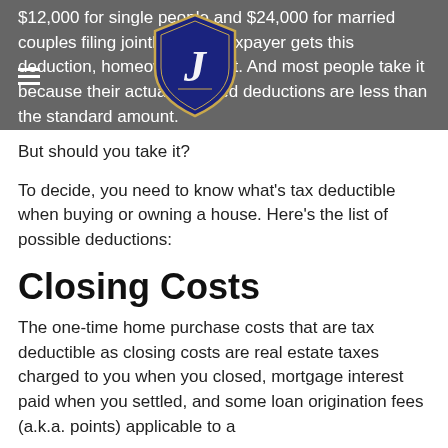$12,000 for single people and $24,000 for married couples filing jointly. Every taxpayer gets this deduction, homeowner or not. And most people take it because their actual itemized deductions are less than the standard amount.
[Figure (logo): Jenny Gordon Group logo - shield shape in dark blue/navy with a stylized 'J' in white/gold, text 'JENNY GORDON GROUP' below in gold]
But should you take it?
To decide, you need to know what's tax deductible when buying or owning a house. Here's the list of possible deductions:
Closing Costs
The one-time home purchase costs that are tax deductible as closing costs are real estate taxes charged to you when you closed, mortgage interest paid when you settled, and some loan origination fees (a.k.a. points) applicable to a